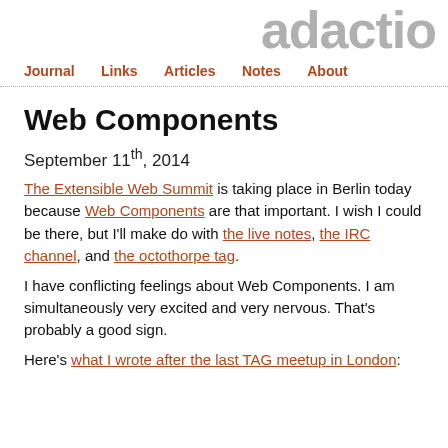adactio
Journal  Links  Articles  Notes  About
Web Components
September 11th, 2014
The Extensible Web Summit is taking place in Berlin today because Web Components are that important. I wish I could be there, but I'll make do with the live notes, the IRC channel, and the octothorpe tag.
I have conflicting feelings about Web Components. I am simultaneously very excited and very nervous. That's probably a good sign.
Here's what I wrote after the last TAG meetup in London: